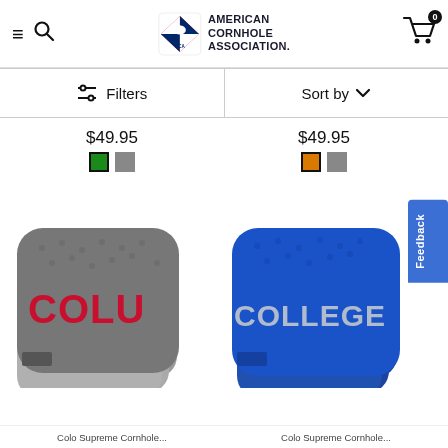[Figure (screenshot): American Cornhole Association website navigation bar with hamburger menu, search icon, ACA logo with eagle emblem, and cart icon with 0 badge]
Filters
Sort by
$49.95
$49.95
[Figure (photo): Gray cornhole bag with red COLU text, stacked set of 4 bags]
[Figure (photo): Blue cornhole bag with COLLEGE text in gray, stacked set of 4 bags]